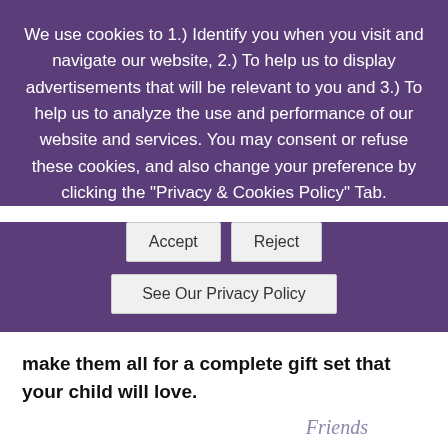We use cookies to 1.) Identify you when you visit and navigate our website, 2.) To help us to display advertisements that will be relevant to you and 3.) To help us to analyze the use and performance of our website and services. You may consent or refuse these cookies, and also change your preference by clicking the "Privacy & Cookies Policy" Tab.
[Figure (screenshot): Cookie consent banner buttons: Accept, Reject, and See Our Privacy Policy]
make them all for a complete gift set that your child will love.
[Figure (photo): Crochet elephant toy with orange accents, partially visible at bottom of page. Text 'Friends' appears in italics above the toy.]